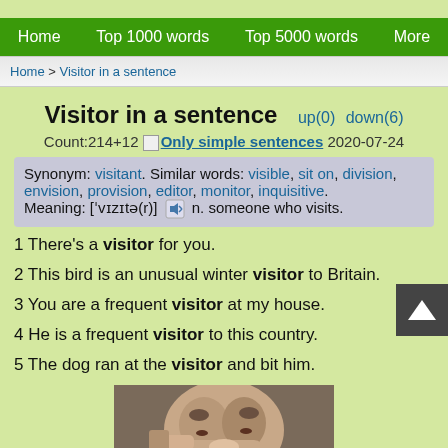Home   Top 1000 words   Top 5000 words   More
Home > Visitor in a sentence
Visitor in a sentence  up(0)  down(6)
Count:214+12  Only simple sentences  2020-07-24
Synonym: visitant. Similar words: visible, sit on, division, envision, provision, editor, monitor, inquisitive. Meaning: ['vɪzɪtə(r)]  n. someone who visits.
1 There's a visitor for you.
2 This bird is an unusual winter visitor to Britain.
3 You are a frequent visitor at my house.
4 He is a frequent visitor to this country.
5 The dog ran at the visitor and bit him.
[Figure (photo): Photo of a child with a cat]